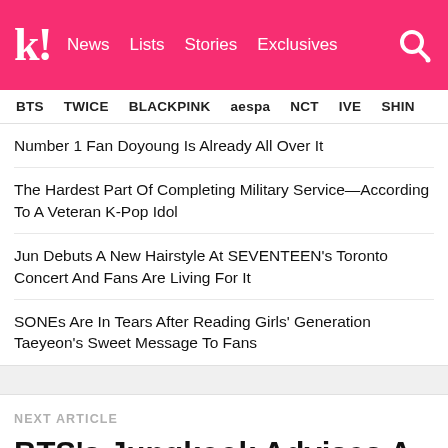Koreaboo | News Lists Stories Exclusives
BTS TWICE BLACKPINK aespa NCT IVE SHIN…
Number 1 Fan Doyoung Is Already All Over It
The Hardest Part Of Completing Military Service—According To A Veteran K-Pop Idol
Jun Debuts A New Hairstyle At SEVENTEEN's Toronto Concert And Fans Are Living For It
SONEs Are In Tears After Reading Girls' Generation Taeyeon's Sweet Message To Fans
NEXT ARTICLE
BTS's Jungkook Advises A Troubled Fan To Follow Their Heart